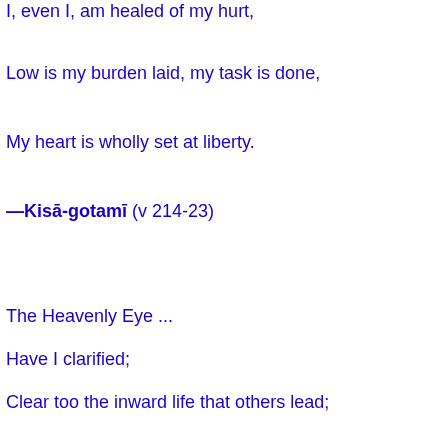I, even I, am healed of my hurt,
Low is my burden laid, my task is done,
My heart is wholly set at liberty.
—Kisā-gotamī (v 214-23)
The Heavenly Eye ...
Have I clarified;
Clear too the inward life that others lead;
Clear too I hear the sounds ineffable;
Powers supernormal have I made mine own;
And won immunity from deadly drugs [the poison
These, the six higher knowledges [iddhis] are mi
Accomplished is the bidding of the Lord [Buddha
[Māra tempts her with pleasure... She responds:]
Were there an hundred thousand seducers e'en s